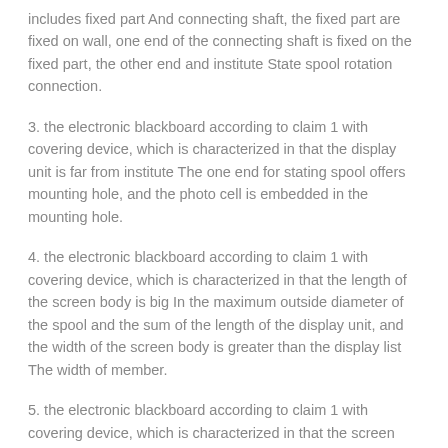includes fixed part And connecting shaft, the fixed part are fixed on wall, one end of the connecting shaft is fixed on the fixed part, the other end and institute State spool rotation connection.
3. the electronic blackboard according to claim 1 with covering device, which is characterized in that the display unit is far from institute The one end for stating spool offers mounting hole, and the photo cell is embedded in the mounting hole.
4. the electronic blackboard according to claim 1 with covering device, which is characterized in that the length of the screen body is big In the maximum outside diameter of the spool and the sum of the length of the display unit, and the width of the screen body is greater than the display list The width of member.
5. the electronic blackboard according to claim 1 with covering device, which is characterized in that the screen body includes covering Ontology and set on it is described cover ontology medial surface brush body.
6. the electronic blackboard according to claim 5 with